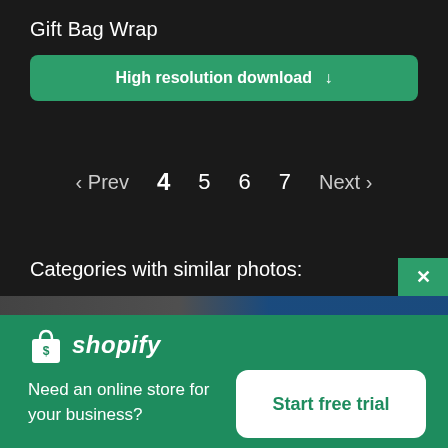Gift Bag Wrap
High resolution download ↓
‹ Prev  4  5  6  7  Next ›
Categories with similar photos:
[Figure (logo): Shopify logo with shopping bag icon and italic shopify text]
Need an online store for your business?
Start free trial